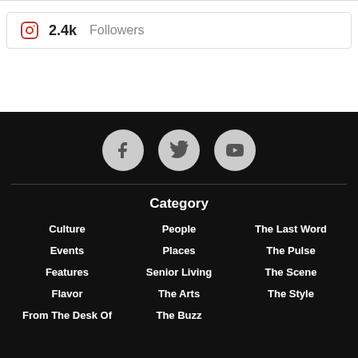2.4k Followers (Instagram)
[Figure (infographic): Three social media icon circles: Facebook, Twitter, YouTube on a black background]
Category
Culture
Events
Features
Flavor
From The Desk Of
People
Places
Senior Living
The Arts
The Buzz
The Last Word
The Pulse
The Scene
The Style